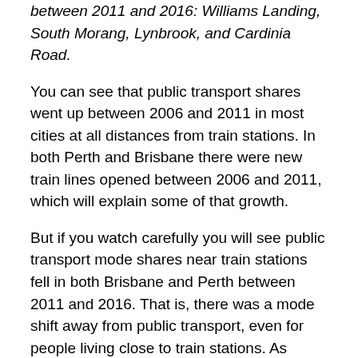between 2011 and 2016: Williams Landing, South Morang, Lynbrook, and Cardinia Road.
You can see that public transport shares went up between 2006 and 2011 in most cities at all distances from train stations. In both Perth and Brisbane there were new train lines opened between 2006 and 2011, which will explain some of that growth.
But if you watch carefully you will see public transport mode shares near train stations fell in both Brisbane and Perth between 2011 and 2016. That is, there was a mode shift away from public transport, even for people living close to train stations. As discussed previously, this is most likely related to there being only small jobs growth in the CBDs of those cities between 2011 and 2016, compared to suburban locations.